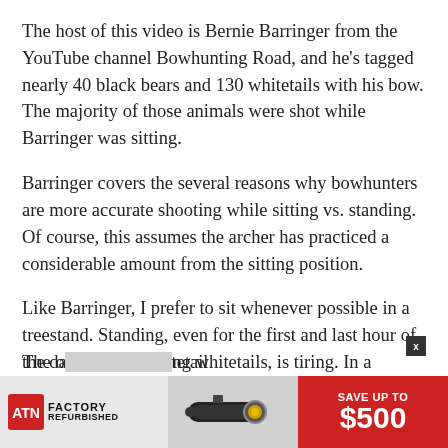The host of this video is Bernie Barringer from the YouTube channel Bowhunting Road, and he's tagged nearly 40 black bears and 130 whitetails with his bow. The majority of those animals were shot while Barringer was sitting.
Barringer covers the several reasons why bowhunters are more accurate shooting while sitting vs. standing. Of course, this assumes the archer has practiced a considerable amount from the sitting position.
Like Barringer, I prefer to sit whenever possible in a treestand. Standing, even for the first and last hour of the day while pursuing whitetails, is tiring. In a treestand I move less when sitting, which helps me hide from whitetails.
The o[bscured by ad]tetail
[Figure (infographic): ATN Factory Refurbished advertisement banner with logo, scope image, and 'SAVE UP TO $500' offer on red background. Has an X close button.]